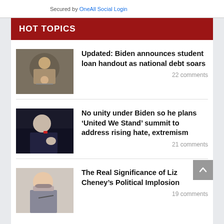Secured by OneAll Social Login
HOT TOPICS
Updated: Biden announces student loan handout as national debt soars
22 comments
No unity under Biden so he plans ‘United We Stand’ summit to address rising hate, extremism
21 comments
The Real Significance of Liz Cheney’s Political Implosion
19 comments